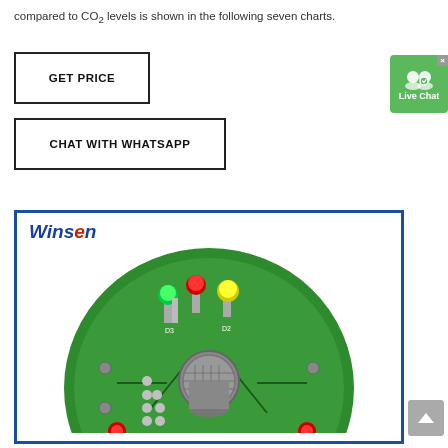compared to CO2 levels is shown in the following seven charts.
GET PRICE
CHAT WITH WHATSAPP
[Figure (photo): Winsen branded product photo showing a green circular PCB board with three colored LED lights (green, red, yellow) and a metal gas sensor component in the center. Component labels D3 and D2 are visible on the board.]